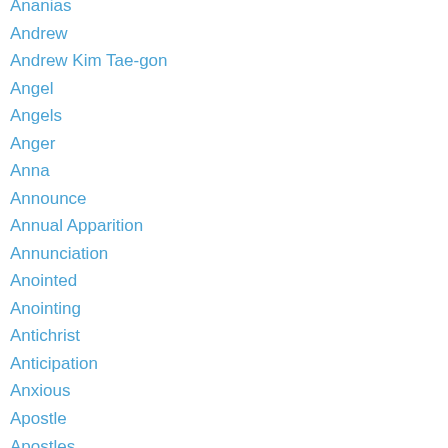Ananias
Andrew
Andrew Kim Tae-gon
Angel
Angels
Anger
Anna
Announce
Annual Apparition
Annunciation
Anointed
Anointing
Antichrist
Anticipation
Anxious
Apostle
Apostles
Apparition
Apparition Day 2
Apparitions
Appointed Time